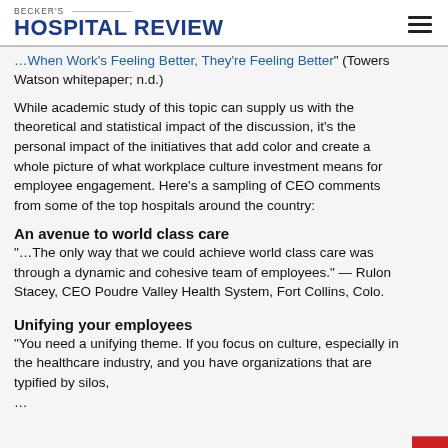BECKER'S HOSPITAL REVIEW
"When Work's Feeling Better, They're Feeling Better" (Towers Watson whitepaper; n.d.)
While academic study of this topic can supply us with the theoretical and statistical impact of the discussion, it's the personal impact of the initiatives that add color and create a whole picture of what workplace culture investment means for employee engagement. Here's a sampling of CEO comments from some of the top hospitals around the country:
An avenue to world class care
"…The only way that we could achieve world class care was through a dynamic and cohesive team of employees." — Rulon Stacey, CEO Poudre Valley Health System, Fort Collins, Colo.
Unifying your employees
"You need a unifying theme. If you focus on culture, especially in the healthcare industry, and you have organizations that are typified by silos,